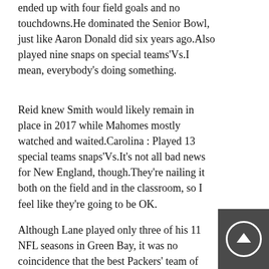ended up with four field goals and no touchdowns.He dominated the Senior Bowl, just like Aaron Donald did six years ago.Also played nine snaps on special teams'Vs.I mean, everybody's doing something.
Reid knew Smith would likely remain in place in 2017 while Mahomes mostly watched and waited.Carolina : Played 13 special teams snaps'Vs.It's not all bad news for New England, though.They're nailing it both on the field and in the classroom, so I feel like they're going to be OK.
Although Lane played only three of his 11 NFL seasons in Green Bay, it was no coincidence that the best Packers' team of the gory years was his first as a member.No carry-in items, including seat backs, clear bags or purses, will be permitted.I